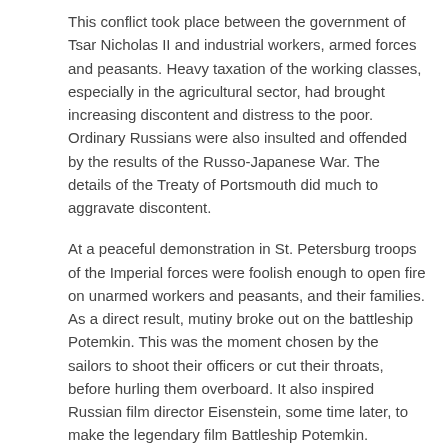This conflict took place between the government of Tsar Nicholas II and industrial workers, armed forces and peasants. Heavy taxation of the working classes, especially in the agricultural sector, had brought increasing discontent and distress to the poor. Ordinary Russians were also insulted and offended by the results of the Russo-Japanese War. The details of the Treaty of Portsmouth did much to aggravate discontent.
At a peaceful demonstration in St. Petersburg troops of the Imperial forces were foolish enough to open fire on unarmed workers and peasants, and their families. As a direct result, mutiny broke out on the battleship Potemkin. This was the moment chosen by the sailors to shoot their officers or cut their throats, before hurling them overboard. It also inspired Russian film director Eisenstein, some time later, to make the legendary film Battleship Potemkin.
Unhappy soldiers, sailors and peasants combined to form the first Soviet, in St. Petersburg itself. The Tsar was sensible enough (rather rare for him) to yield to certain demands for reform, which included the proposal to form a legislative Duma. The newly gathered political party called the 'Social Democrats' decided however to continue to opt for a complete overthrow of the imperial governmental system. They met with increased and reactionary opposition from the government. Across